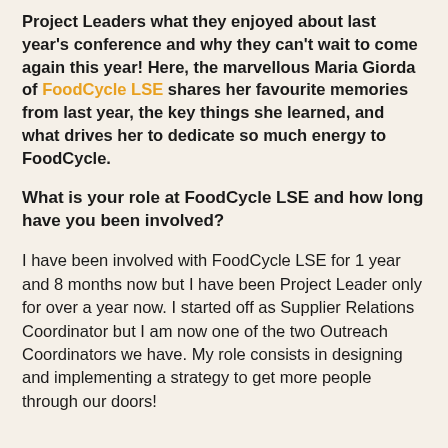Project Leaders what they enjoyed about last year's conference and why they can't wait to come again this year! Here, the marvellous Maria Giorda of FoodCycle LSE shares her favourite memories from last year, the key things she learned, and what drives her to dedicate so much energy to FoodCycle.
What is your role at FoodCycle LSE and how long have you been involved?
I have been involved with FoodCycle LSE for 1 year and 8 months now but I have been Project Leader only for over a year now. I started off as Supplier Relations Coordinator but I am now one of the two Outreach Coordinators we have. My role consists in designing and implementing a strategy to get more people through our doors!